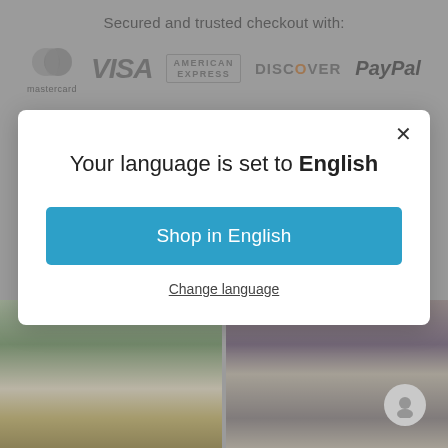Secured and trusted checkout with:
[Figure (logo): Payment method logos: Mastercard, VISA, American Express, Discover, PayPal]
Your language is set to English
Shop in English
Change language
[Figure (photo): Photo of person in green garment in a room with gold decor]
[Figure (photo): Photo of group of people in various colored garments]